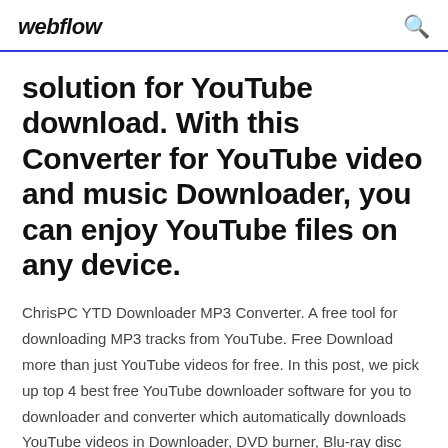webflow
solution for YouTube download. With this Converter for YouTube video and music Downloader, you can enjoy YouTube files on any device.
ChrisPC YTD Downloader MP3 Converter. A free tool for downloading MP3 tracks from YouTube. Free Download more than just YouTube videos for free. In this post, we pick up top 4 best free YouTube downloader software for you to downloader and converter which automatically downloads YouTube videos in Downloader, DVD burner, Blu-ray disc burner and even a basic